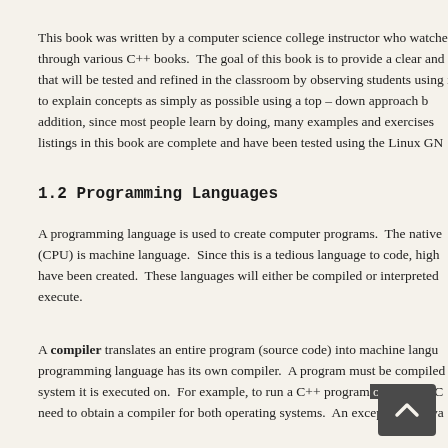This book was written by a computer science college instructor who watched through various C++ books. The goal of this book is to provide a clear and that will be tested and refined in the classroom by observing students using is to explain concepts as simply as possible using a top – down approach b addition, since most people learn by doing, many examples and exercises listings in this book are complete and have been tested using the Linux GN
1.2 Programming Languages
A programming language is used to create computer programs. The native (CPU) is machine language. Since this is a tedious language to code, high have been created. These languages will either be compiled or interpreted execute.
A compiler translates an entire program (source code) into machine langu programming language has its own compiler. A program must be compiled system it is executed on. For example, to run a C++ program on both a PC need to obtain a compiler for both operating systems. An exception is Java